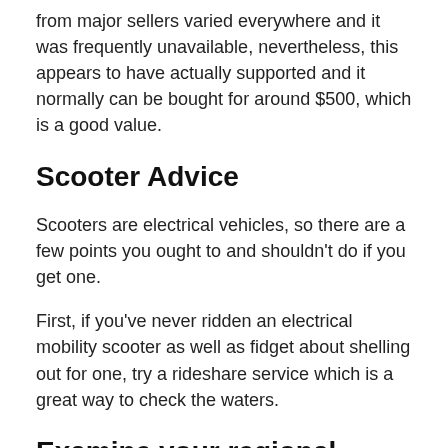from major sellers varied everywhere and it was frequently unavailable, nevertheless, this appears to have actually supported and it normally can be bought for around $500, which is a good value.
Scooter Advice
Scooters are electrical vehicles, so there are a few points you ought to and shouldn’t do if you get one.
First, if you’ve never ridden an electrical mobility scooter as well as fidget about shelling out for one, try a rideshare service which is a great way to check the waters.
Examine your regional regulations